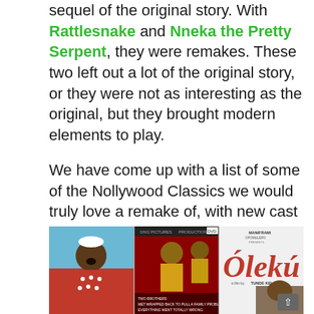sequel of the original story. With Rattlesnake and Nneka the Pretty Serpent, they were remakes. These two left out a lot of the original story, or they were not as interesting as the original, but they brought modern elements to play.
We have come up with a list of some of the Nollywood Classics we would truly love a remake of, with new cast and updated screenplay.
[Figure (photo): Three Nollywood movie covers side by side: a man in traditional red and white attire with mouth open against blue sky; two men on a red DVD cover; and the 'Ólekú' movie poster in white and red directed by Tunde Kelani.]